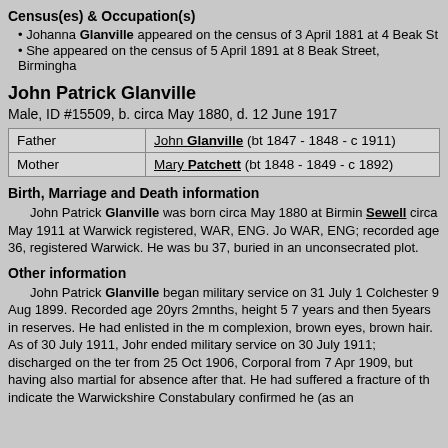Census(es) & Occupation(s)
Johanna Glanville appeared on the census of 3 April 1881 at 4 Beak St
She appeared on the census of 5 April 1891 at 8 Beak Street, Birmingha
John Patrick Glanville
Male, ID #15509, b. circa May 1880, d. 12 June 1917
| Role | Person |
| --- | --- |
| Father | John Glanville (bt 1847 - 1848 - c 1911) |
| Mother | Mary Patchett (bt 1848 - 1849 - c 1892) |
Birth, Marriage and Death information
John Patrick Glanville was born circa May 1880 at Birmin Sewell circa May 1911 at Warwick registered, WAR, ENG. Jo WAR, ENG; recorded age 36, registered Warwick. He was bu 37, buried in an unconsecrated plot.
Other information
John Patrick Glanville began military service on 31 July 1 Colchester 9 Aug 1899. Recorded age 20yrs 2mnths, height 5 7 years and then 5years in reserves. He had enlisted in the m complexion, brown eyes, brown hair. As of 30 July 1911, Johr ended military service on 30 July 1911; discharged on the ter from 25 Oct 1906, Corporal from 7 Apr 1909, but having also martial for absence after that. He had suffered a fracture of th indicate the Warwickshire Constabulary confirmed he (as an